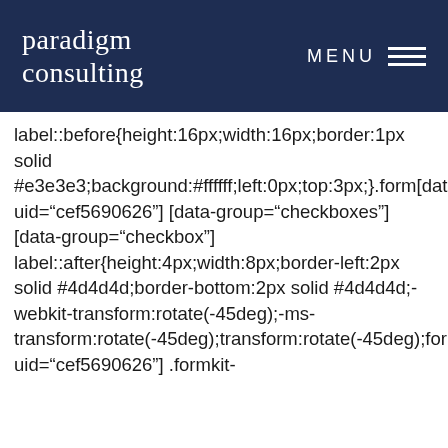paradigm consulting | MENU
label::before{height:16px;width:16px;border:1px solid #e3e3e3;background:#ffffff;left:0px;top:3px;}.form[data-uid="cef5690626"] [data-group="checkboxes"] [data-group="checkbox"] label::after{height:4px;width:8px;border-left:2px solid #4d4d4d;border-bottom:2px solid #4d4d4d;-webkit-transform:rotate(-45deg);-ms-transform:rotate(-45deg);transform:rotate(-45deg);form[data-uid="cef5690626"] .formkit-